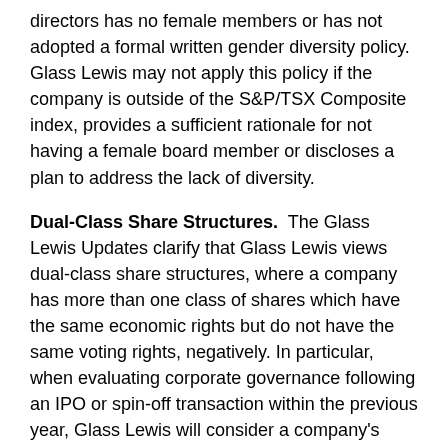directors has no female members or has not adopted a formal written gender diversity policy. Glass Lewis may not apply this policy if the company is outside of the S&P/TSX Composite index, provides a sufficient rationale for not having a female board member or discloses a plan to address the lack of diversity.
Dual-Class Share Structures. The Glass Lewis Updates clarify that Glass Lewis views dual-class share structures, where a company has more than one class of shares which have the same economic rights but do not have the same voting rights, negatively. In particular, when evaluating corporate governance following an IPO or spin-off transaction within the previous year, Glass Lewis will consider a company's dual-class share structure as a factor in determining if shareholder rights are being restricted indefinitely.